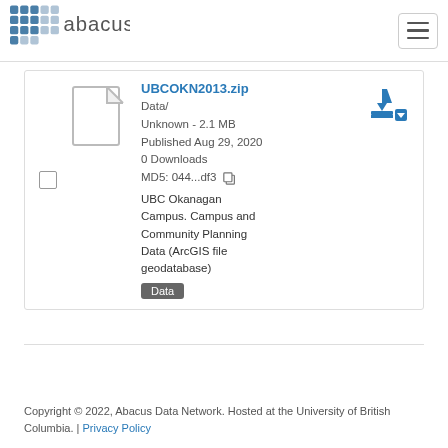Abacus [logo]
UBCOKN2013.zip
Data/
Unknown - 2.1 MB
Published Aug 29, 2020
0 Downloads
MD5: 044...df3
UBC Okanagan Campus. Campus and Community Planning Data (ArcGIS file geodatabase)
Data
Copyright © 2022, Abacus Data Network. Hosted at the University of British Columbia. | Privacy Policy